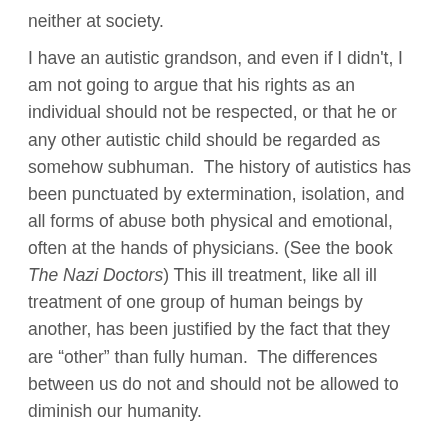neither at society.
I have an autistic grandson, and even if I didn't, I am not going to argue that his rights as an individual should not be respected, or that he or any other autistic child should be regarded as somehow subhuman.  The history of autistics has been punctuated by extermination, isolation, and all forms of abuse both physical and emotional, often at the hands of physicians. (See the book The Nazi Doctors) This ill treatment, like all ill treatment of one group of human beings by another, has been justified by the fact that they are “other” than fully human.  The differences between us do not and should not be allowed to diminish our humanity.